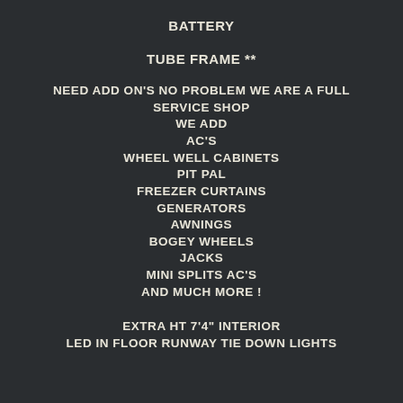BATTERY
TUBE FRAME **
NEED ADD ON'S NO PROBLEM WE ARE A FULL SERVICE SHOP
WE ADD
AC'S
WHEEL WELL CABINETS
PIT PAL
FREEZER CURTAINS
GENERATORS
AWNINGS
BOGEY WHEELS
JACKS
MINI SPLITS AC'S
AND MUCH MORE !
EXTRA HT 7'4" INTERIOR
LED IN FLOOR RUNWAY TIE DOWN LIGHTS